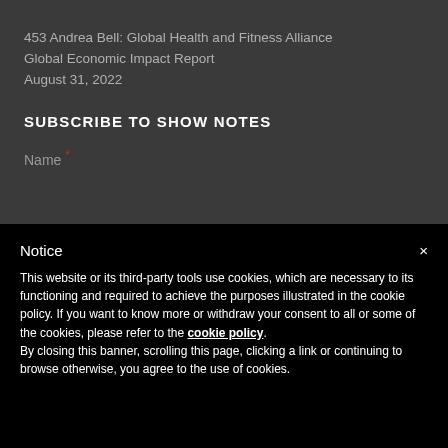453 Andrea Bell: Global Health and Fitness Alliance Global Economic Impact Report August 31, 2022
SUBSCRIBE TO SHOW NOTES
Name *
Notice
This website or its third-party tools use cookies, which are necessary to its functioning and required to achieve the purposes illustrated in the cookie policy. If you want to know more or withdraw your consent to all or some of the cookies, please refer to the cookie policy. By closing this banner, scrolling this page, clicking a link or continuing to browse otherwise, you agree to the use of cookies.